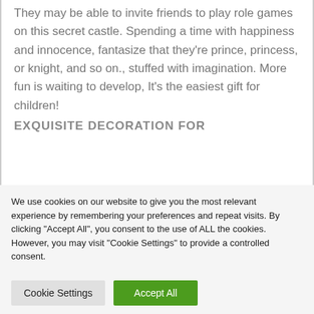They may be able to invite friends to play role games on this secret castle. Spending a time with happiness and innocence, fantasize that they're prince, princess, or knight, and so on., stuffed with imagination. More fun is waiting to develop, It's the easiest gift for children!
EXQUISITE DECORATION FOR
We use cookies on our website to give you the most relevant experience by remembering your preferences and repeat visits. By clicking "Accept All", you consent to the use of ALL the cookies. However, you may visit "Cookie Settings" to provide a controlled consent.